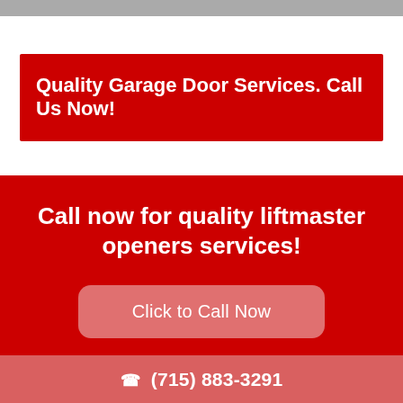[Figure (photo): Partial photo strip at top of page, showing a grey surface]
Quality Garage Door Services. Call Us Now!
Call now for quality liftmaster openers services!
Click to Call Now
(715) 883-3291